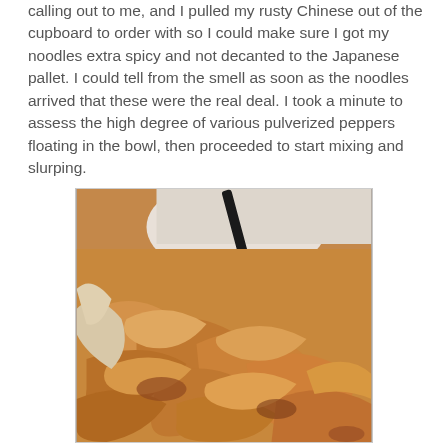calling out to me, and I pulled my rusty Chinese out of the cupboard to order with so I could make sure I got my noodles extra spicy and not decanted to the Japanese pallet. I could tell from the smell as soon as the noodles arrived that these were the real deal. I took a minute to assess the high degree of various pulverized peppers floating in the bowl, then proceeded to start mixing and slurping.
[Figure (photo): Close-up photo of a bowl of wide flat noodles in a spicy orange-brown sauce, with chopsticks visible at the top, and a white bowl edge visible in the background.]